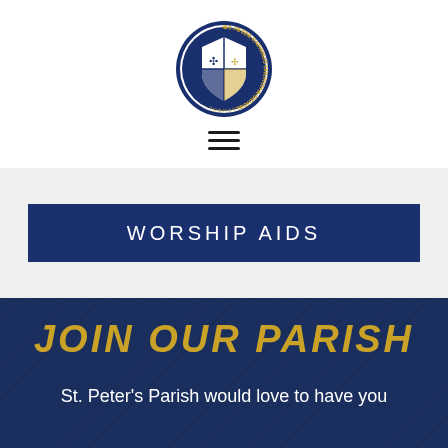[Figure (logo): St. Peter Catholic Church & School circular seal/crest logo with shield divided into four quadrants on blue and gold background]
[Figure (other): Hamburger menu icon with three horizontal lines]
WORSHIP AIDS
JOIN OUR PARISH
St. Peter's Parish would love to have you